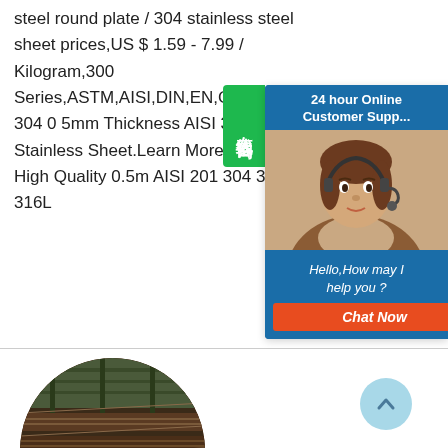steel round plate / 304 stainless steel sheet prices,US $ 1.59 - 7.99 / Kilogram,300 Series,ASTM,AISI,DIN,EN,GB,JIS,2m,2.44m 304 0 5mm Thickness AISI 316ti Stainless Sheet.Learn MoreChina High Quality 0.5m AISI 201 304 310S 316L
[Figure (photo): Chat widget with customer support photo, '24 hour Online Customer Support', 'Hello, How may I help you?', and 'Chat Now' button. Green badge on left with Chinese characters 在线咨询.]
[Figure (photo): Circular cropped photo of a steel manufacturing facility showing stainless steel sheets/plates on a production line.]
[Figure (other): Light blue circular scroll-to-top button with upward arrow chevron.]